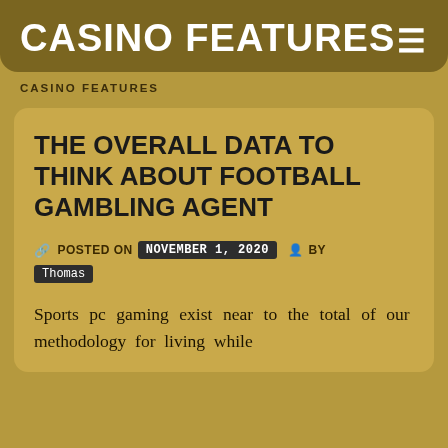CASINO FEATURES
CASINO FEATURES
THE OVERALL DATA TO THINK ABOUT FOOTBALL GAMBLING AGENT
POSTED ON November 1, 2020 BY Thomas
Sports pc gaming exist near to the total of our methodology for living while